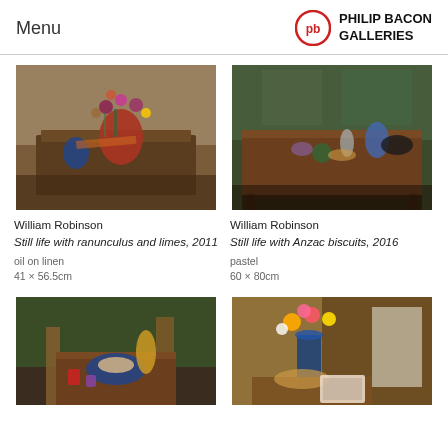Menu | PHILIP BACON GALLERIES
[Figure (photo): Still life painting: flowers in vases on a wooden table, oil on linen]
[Figure (photo): Still life pastel: glassware and objects on a wooden table with window background]
William Robinson
Still life with ranunculus and limes, 2011
oil on linen
41 × 56.5cm
William Robinson
Still life with Anzac biscuits, 2016
pastel
60 × 80cm
[Figure (photo): Still life painting: table with food, decorative objects and chairs]
[Figure (photo): Still life painting: colorful flowers in blue vase on table with decorative items]